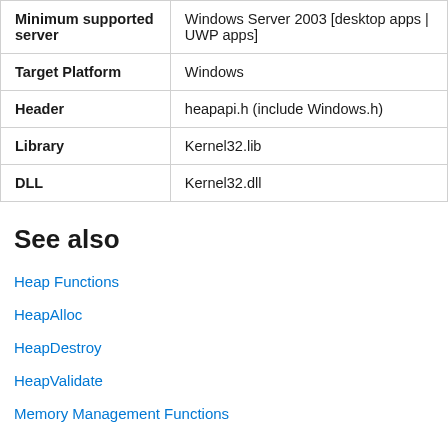| Minimum supported server | Windows Server 2003 [desktop apps | UWP apps] |
| Target Platform | Windows |
| Header | heapapi.h (include Windows.h) |
| Library | Kernel32.lib |
| DLL | Kernel32.dll |
See also
Heap Functions
HeapAlloc
HeapDestroy
HeapValidate
Memory Management Functions